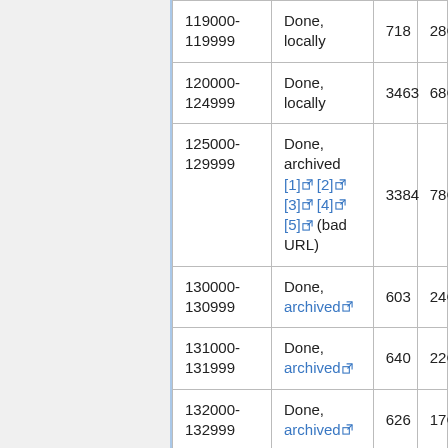| Range | Status | Count | Size |
| --- | --- | --- | --- |
| 119000-119999 | Done, locally | 718 | 28G |
| 120000-124999 | Done, locally | 3463 | 68G |
| 125000-129999 | Done, archived [1] [2] [3] [4] [5] (bad URL) | 3384 | 78G |
| 130000-130999 | Done, archived | 603 | 24G |
| 131000-131999 | Done, archived | 640 | 22G |
| 132000-132999 | Done, archived | 626 | 17G |
| 133000-133999 | Done, archived | 602 | 25G |